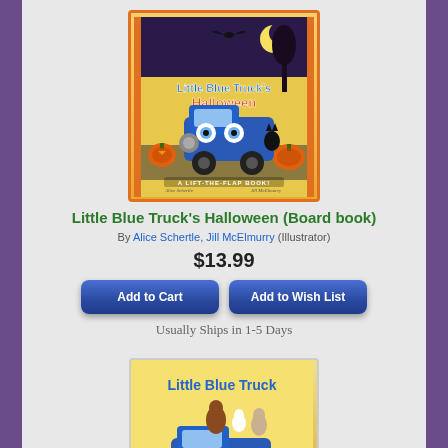[Figure (illustration): Book cover of 'Little Blue Truck's Halloween' featuring a blue truck with jack-o-lanterns, a raccoon, bat, black cat, and Halloween decorations. Orange border. Text: 'A Lift-the-Flap Book']
Little Blue Truck's Halloween (Board book)
By Alice Schertle, Jill McElmurry (Illustrator)
$13.99
Add to Cart
Add to Wish List
Usually Ships in 1-5 Days
[Figure (illustration): Book cover of 'Little Blue Truck' featuring a blue truck loaded with farm animals including a horse, goose, and goat on a sunny road. Authors: Alice Schertle, Jill McElmurry]